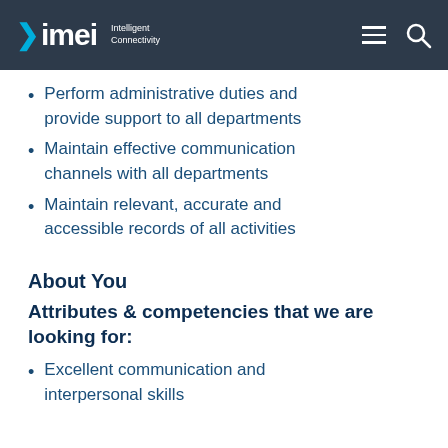>imei Intelligent Connectivity
Perform administrative duties and provide support to all departments
Maintain effective communication channels with all departments
Maintain relevant, accurate and accessible records of all activities
About You
Attributes & competencies that we are looking for:
Excellent communication and interpersonal skills